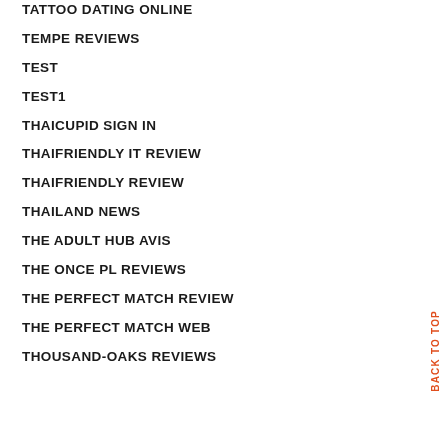TATTOO DATING ONLINE
TEMPE REVIEWS
TEST
TEST1
THAICUPID SIGN IN
THAIFRIENDLY IT REVIEW
THAIFRIENDLY REVIEW
THAILAND NEWS
THE ADULT HUB AVIS
THE ONCE PL REVIEWS
THE PERFECT MATCH REVIEW
THE PERFECT MATCH WEB
THOUSAND-OAKS REVIEWS